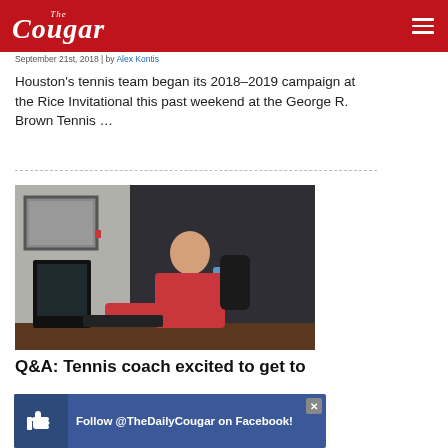The Cougar
September 21st, 2018 | by Alex Kontis
Houston’s tennis team began its 2018–2019 campaign at the Rice Invitational this past weekend at the George R. Brown Tennis …
[Figure (photo): Woman in red jacket sitting at a desk with a computer monitor, in an office setting with a dark wall.]
Q&A: Tennis coach excited to get to
[Figure (other): Advertisement banner: Follow @TheDailyCougar on Facebook! with thumbs-up icon and close button.]